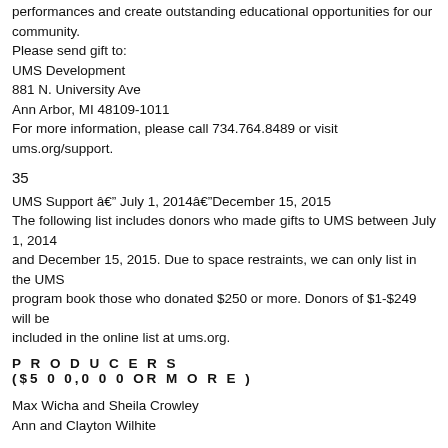performances and create outstanding educational opportunities for our community.
Please send gift to:
UMS Development
881 N. University Ave
Ann Arbor, MI 48109-1011
For more information, please call 734.764.8489 or visit ums.org/support.
35
UMS Support — July 1, 2014—December 15, 2015
The following list includes donors who made gifts to UMS between July 1, 2014 and December 15, 2015. Due to space restraints, we can only list in the UMS program book those who donated $250 or more. Donors of $1-$249 will be included in the online list at ums.org.
P R O D U C E R S
($5 0 0,0 0 0 OR M O R E )
Max Wicha and Sheila Crowley
Ann and Clayton Wilhite